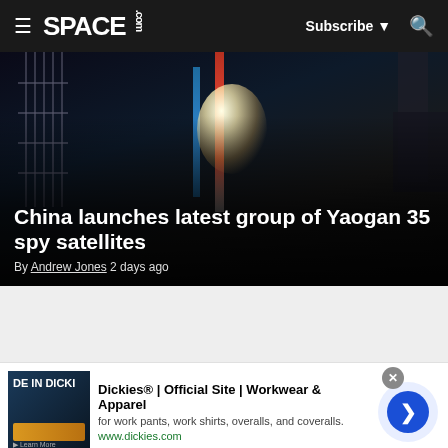SPACE.com — Subscribe — Search
[Figure (photo): Night launch image of a Long March rocket on its launch pad with scaffolding and bright engine flare, dimly lit scene]
China launches latest group of Yaogan 35 spy satellites
By Andrew Jones 2 days ago
[Figure (other): Gray advertisement placeholder / content section]
Dickies® | Official Site | Workwear & Apparel
for work pants, work shirts, overalls, and coveralls.
www.dickies.com